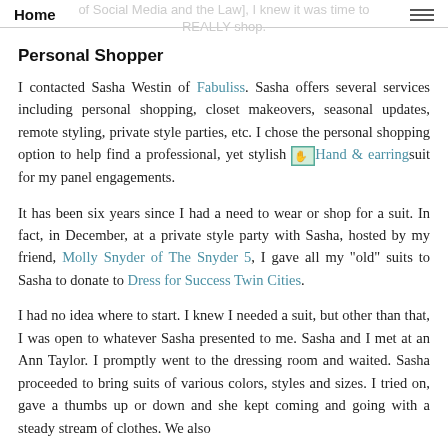Home | [Social Media and the Law], I knew it was time to REALLY shop.
Personal Shopper
I contacted Sasha Westin of Fabuliss. Sasha offers several services including personal shopping, closet makeovers, seasonal updates, remote styling, private style parties, etc. I chose the personal shopping option to help find a professional, yet stylish [Hand & earring] suit for my panel engagements.
It has been six years since I had a need to wear or shop for a suit. In fact, in December, at a private style party with Sasha, hosted by my friend, Molly Snyder of The Snyder 5, I gave all my "old" suits to Sasha to donate to Dress for Success Twin Cities.
I had no idea where to start. I knew I needed a suit, but other than that, I was open to whatever Sasha presented to me. Sasha and I met at an Ann Taylor. I promptly went to the dressing room and waited. Sasha proceeded to bring suits of various colors, styles and sizes. I tried on, gave a thumbs up or down and she kept coming and going with a steady stream of clothes. We also